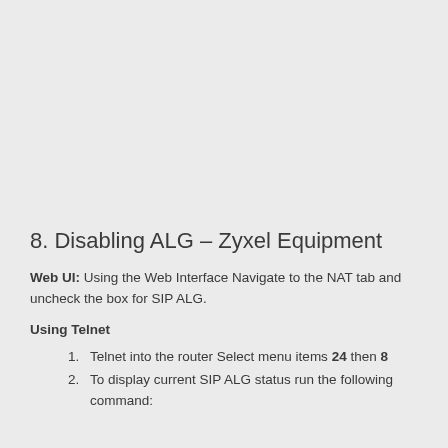8. Disabling ALG – Zyxel Equipment
Web UI: Using the Web Interface Navigate to the NAT tab and uncheck the box for SIP ALG.
Using Telnet
Telnet into the router Select menu items 24 then 8
To display current SIP ALG status run the following command: